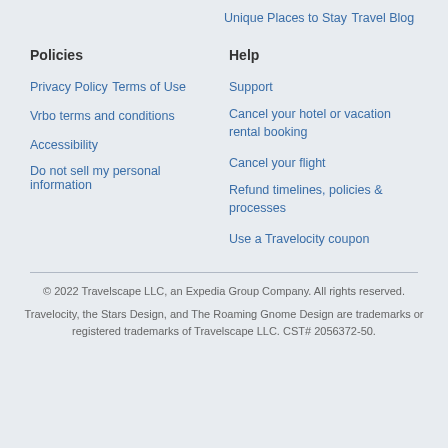Unique Places to Stay
Travel Blog
Policies
Help
Privacy Policy
Support
Terms of Use
Cancel your hotel or vacation rental booking
Vrbo terms and conditions
Cancel your flight
Accessibility
Refund timelines, policies & processes
Do not sell my personal information
Use a Travelocity coupon
© 2022 Travelscape LLC, an Expedia Group Company. All rights reserved.
Travelocity, the Stars Design, and The Roaming Gnome Design are trademarks or registered trademarks of Travelscape LLC. CST# 2056372-50.